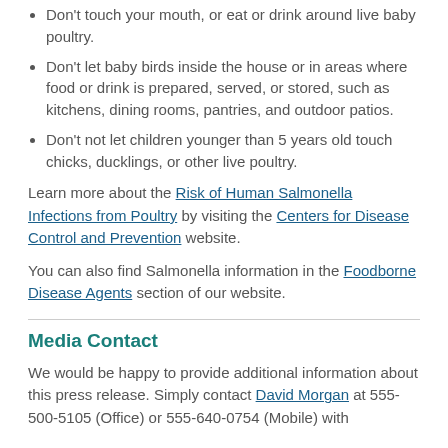Don't touch your mouth, or eat or drink around live baby poultry.
Don't let baby birds inside the house or in areas where food or drink is prepared, served, or stored, such as kitchens, dining rooms, pantries, and outdoor patios.
Don't not let children younger than 5 years old touch chicks, ducklings, or other live poultry.
Learn more about the Risk of Human Salmonella Infections from Poultry by visiting the Centers for Disease Control and Prevention website.
You can also find Salmonella information in the Foodborne Disease Agents section of our website.
Media Contact
We would be happy to provide additional information about this press release. Simply contact David Morgan at 555-500-5105 (Office) or 555-640-0754 (Mobile) with...